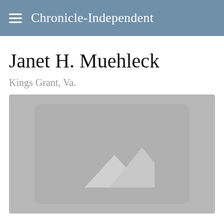Chronicle-Independent
Janet H. Muehleck
Kings Grant, Va.
[Figure (photo): Placeholder image with mountain/landscape icon on grey background]